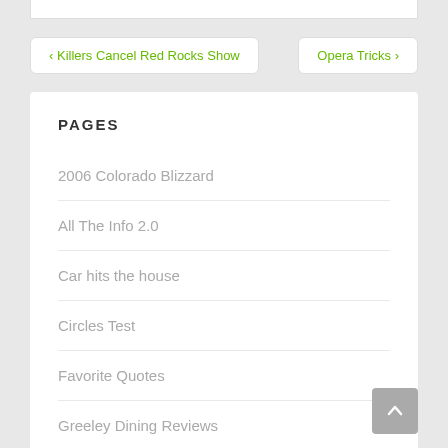‹ Killers Cancel Red Rocks Show
Opera Tricks ›
PAGES
2006 Colorado Blizzard
All The Info 2.0
Car hits the house
Circles Test
Favorite Quotes
Greeley Dining Reviews
Lifestream